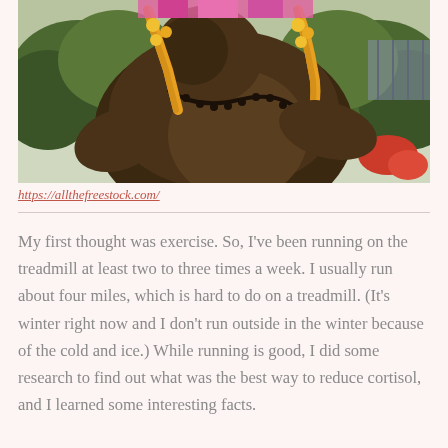[Figure (photo): A large bronze Buddha (Laughing Buddha/Budai) statue decorated with yellow marigold garlands and pink fabric, photographed outdoors with green foliage and structures in the background.]
https://allthefreestock.com/
My first thought was exercise. So, I've been running on the treadmill at least two to three times a week. I usually run about four miles, which is hard to do on a treadmill. (It's winter right now and I don't run outside in the winter because of the cold and ice.) While running is good, I did some research to find out what was the best way to reduce cortisol, and I learned some interesting facts.